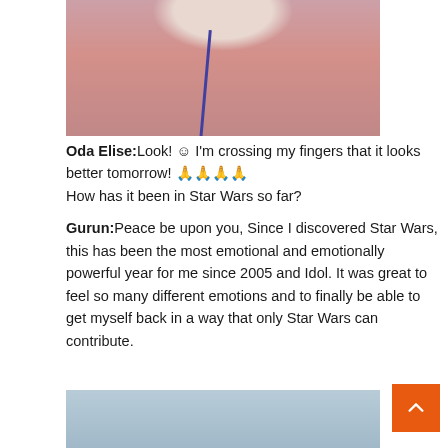[Figure (photo): Photo of a person with blonde hair wearing a pink/mauve sweater and a blue/purple lanyard, photographed from above/angle in an indoor setting.]
Oda Elise:Look! ☺ I'm crossing my fingers that it looks better tomorrow! 🙏🙏🙏🙏
How has it been in Star Wars so far?
Gurun:Peace be upon you, Since I discovered Star Wars, this has been the most emotional and emotionally powerful year for me since 2005 and Idol. It was great to feel so many different emotions and to finally be able to get myself back in a way that only Star Wars can contribute.
[Figure (photo): Partial photo of a second person against a light blue/grey background, visible from bottom of page.]